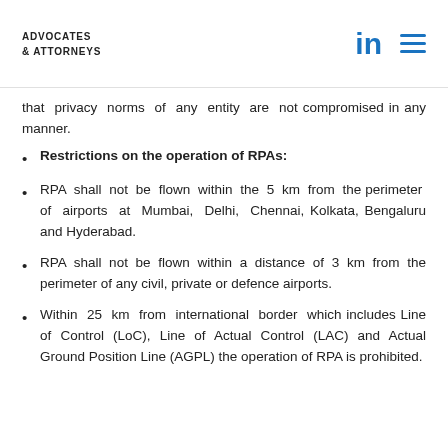ADVOCATES & ATTORNEYS
that privacy norms of any entity are not compromised in any manner.
Restrictions on the operation of RPAs:
RPA shall not be flown within the 5 km from the perimeter of airports at Mumbai, Delhi, Chennai, Kolkata, Bengaluru and Hyderabad.
RPA shall not be flown within a distance of 3 km from the perimeter of any civil, private or defence airports.
Within 25 km from international border which includes Line of Control (LoC), Line of Actual Control (LAC) and Actual Ground Position Line (AGPL) the operation of RPA is prohibited.